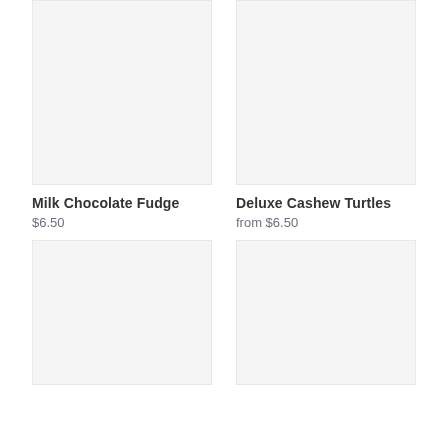[Figure (photo): Product image placeholder for Milk Chocolate Fudge - light gray rectangle]
[Figure (photo): Product image placeholder for Deluxe Cashew Turtles - light gray rectangle]
Milk Chocolate Fudge
$6.50
Deluxe Cashew Turtles
from $6.50
[Figure (photo): Product image placeholder - light gray rectangle, bottom left]
[Figure (photo): Product image placeholder - light gray rectangle, bottom right]